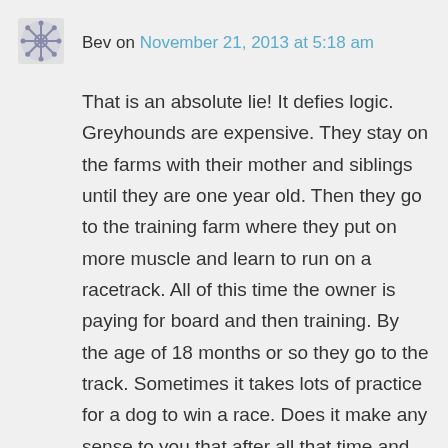Bev on November 21, 2013 at 5:18 am
That is an absolute lie! It defies logic. Greyhounds are expensive. They stay on the farms with their mother and siblings until they are one year old. Then they go to the training farm where they put on more muscle and learn to run on a racetrack. All of this time the owner is paying for board and then training. By the age of 18 months or so they go to the track. Sometimes it takes lots of practice for a dog to win a race. Does it make any sense to you that after all that time and money someone would just put one down if it didn't win one of its first races. I think not. Greyhounds are